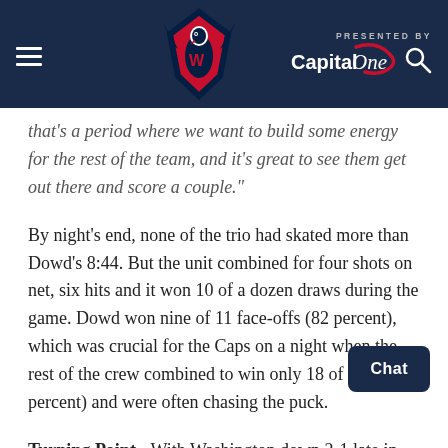PRESENTED BY Capital One — Washington Capitals navigation header
that's a period where we want to build some energy for the rest of the team, and it's great to see them get out there and score a couple."
By night's end, none of the trio had skated more than Dowd's 8:44. But the unit combined for four shots on net, six hits and it won 10 of a dozen draws during the game. Dowd won nine of 11 face-offs (82 percent), which was crucial for the Caps on a night when the rest of the crew combined to win only 18 of 59 (31 percent) and were often chasing the puck.
Turning Point - With Washington down 2-1 late in the second, the Caps ran into some serious penalty killing